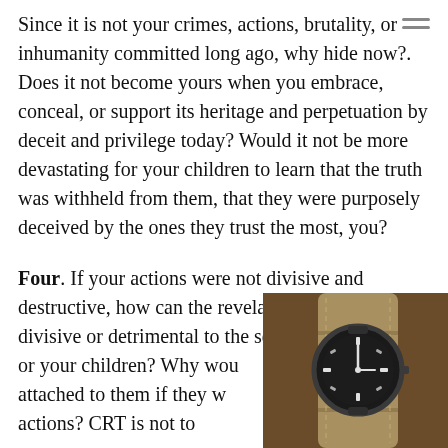Since it is not your crimes, actions, brutality, or inhumanity committed long ago, why hide now?. Does it not become yours when you embrace, conceal, or support its heritage and perpetuation by deceit and privilege today? Would it not be more devastating for your children to learn that the truth was withheld from them, that they were purposely deceived by the ones they trust the most, you?
Four. If your actions were not divisive and destructive, how can the revelations of them be divisive or detrimental to the self image of yourself or your children? Why would there be any shame attached to them if they were noble in cause or actions? CRT is not to
[Figure (photo): A vintage wristwatch with a dark dial on a tan/olive NATO-style strap, partially overlapping the text.]